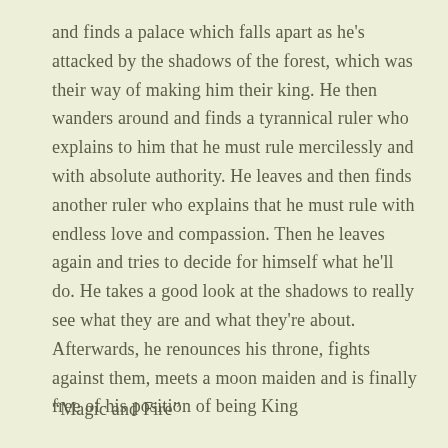and finds a palace which falls apart as he's attacked by the shadows of the forest, which was their way of making him their king. He then wanders around and finds a tyrannical ruler who explains to him that he must rule mercilessly and with absolute authority. He leaves and then finds another ruler who explains that he must rule with endless love and compassion. Then he leaves again and tries to decide for himself what he'll do. He takes a good look at the shadows to really see what they are and what they're about. Afterwards, he renounces his throne, fights against them, meets a moon maiden and is finally free of his position of being King
“Magic and Fire”